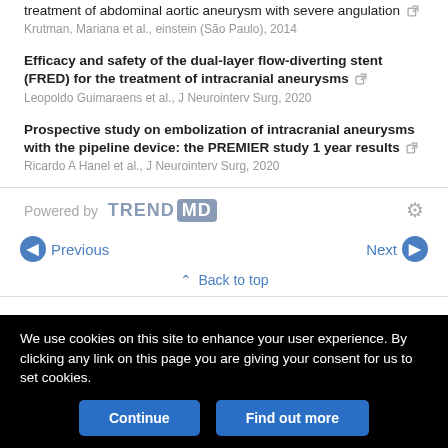treatment of abdominal aortic aneurysm with severe angulation [link]
Krutman, Mariana et al., einstein (São Paulo), 2014
Efficacy and safety of the dual-layer flow-diverting stent (FRED) for the treatment of intracranial aneurysms [link]
Leopoldo Guimaraens et al., J Neurointerv Surg, 2020
Prospective study on embolization of intracranial aneurysms with the pipeline device: the PREMIER study 1 year results [link]
Ricardo A Hanel et al., J Neurointerv Surg, 2020
Powered by TREND MD
Previous
Next
Back to top
We use cookies on this site to enhance your user experience. By clicking any link on this page you are giving your consent for us to set cookies.
Continue
Find out more